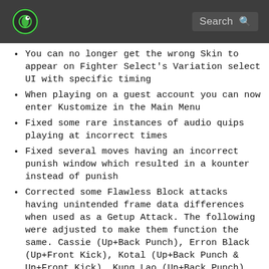Search
You can no longer get the wrong Skin to appear on Fighter Select's Variation select UI with specific timing
When playing on a guest account you can now enter Kustomize in the Main Menu
Fixed some rare instances of audio quips playing at incorrect times
Fixed several moves having an incorrect punish window which resulted in a kounter instead of punish
Corrected some Flawless Block attacks having unintended frame data differences when used as a Getup Attack. The following were adjusted to make them function the same. Cassie (Up+Back Punch), Erron Black (Up+Front Kick), Kotal (Up+Back Punch & Up+Front Kick), Kung Lao (Up+Back Punch), Shao Kahn (Up+Back